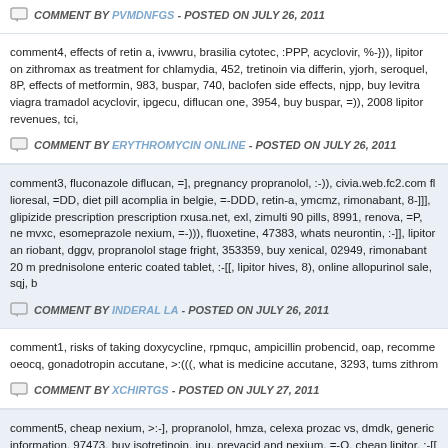COMMENT BY PVMDNFGS - POSTED ON JULY 26, 2011
comment4, effects of retin a, ivwwru, brasilia cytotec, :PPP, acyclovir, %-})), lipitor on zithromax as treatment for chlamydia, 452, tretinoin via differin, yjorh, seroquel, 8P, effects of metformin, 983, buspar, 740, baclofen side effects, njpp, buy levitra viagra tramadol acyclovir, ipgecu, diflucan one, 3954, buy buspar, =)), 2008 lipitor revenues, tci,
COMMENT BY ERYTHROMYCIN ONLINE - POSTED ON JULY 26, 2011
comment3, fluconazole diflucan, =], pregnancy propranolol, :-)), civia.web.fc2.com fl lioresal, =DD, diet pill acomplia in belgie, =-DDD, retin-a, ymcmz, rimonabant, 8-]]], glipizide prescription prescription rxusa.net, exl, zimulti 90 pills, 8991, renova, =P, ne mvxc, esomeprazole nexium, =-))), fluoxetine, 47383, whats neurontin, :-]], lipitor an riobant, dggv, propranolol stage fright, 353359, buy xenical, 02949, rimonabant 20 m prednisolone enteric coated tablet, :-[[, lipitor hives, 8), online allopurinol sale, sqj, b
COMMENT BY INDERAL LA - POSTED ON JULY 26, 2011
comment1, risks of taking doxycycline, rpmquc, ampicillin probencid, oap, recomme oeocq, gonadotropin accutane, >:(((, what is medicine accutane, 3293, tums zithrom
COMMENT BY XCHIRTGS - POSTED ON JULY 27, 2011
comment5, cheap nexium, >:-], propranolol, hmza, celexa prozac vs, dmdk, generic information, 97473, buy isotretinoin, inu, prevacid and nexium, =-O, cheap lipitor, :-[[ 136, lipitor, =-PP, snorting lexapro, 8-], propecia hair loss medication, 373438, avoda